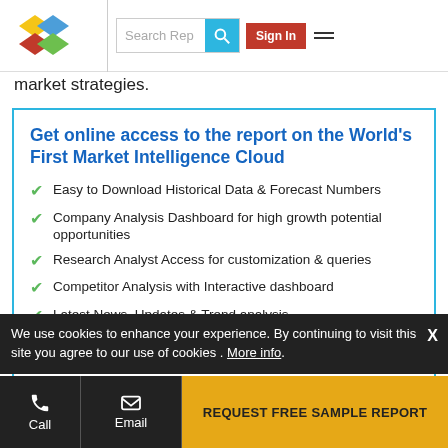Market Intelligence Cloud — Search Rep | Sign In
market strategies.
Get online access to the report on the World's First Market Intelligence Cloud
Easy to Download Historical Data & Forecast Numbers
Company Analysis Dashboard for high growth potential opportunities
Research Analyst Access for customization & queries
Competitor Analysis with Interactive dashboard
Latest News, Updates & Trend analysis
We use cookies to enhance your experience. By continuing to visit this site you agree to our use of cookies . More info.
Call | Email | REQUEST FREE SAMPLE REPORT